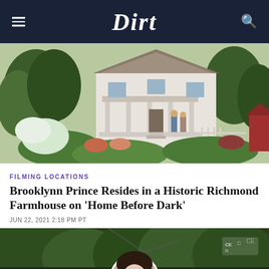Dirt
[Figure (photo): A white historic farmhouse with a porch surrounded by lush green trees, shrubs, and colorful flower gardens. Two people visible near the front porch area.]
FILMING LOCATIONS
Brooklynn Prince Resides in a Historic Richmond Farmhouse on 'Home Before Dark'
JUN 22, 2021 2:18 PM PT
[Figure (photo): A composite image showing a young dark-haired woman smiling in a circular portrait overlay against a background of green trees and what appears to be a residential structure.]